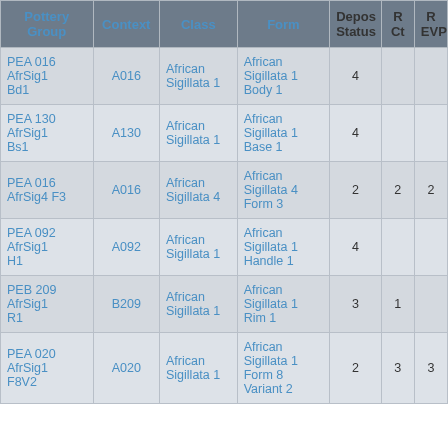| Pottery Group | Context | Class | Form | Depos Status | R Ct | R EVP |
| --- | --- | --- | --- | --- | --- | --- |
| PEA 016 AfrSig1 Bd1 | A016 | African Sigillata 1 | African Sigillata 1 Body 1 | 4 |  |  |
| PEA 130 AfrSig1 Bs1 | A130 | African Sigillata 1 | African Sigillata 1 Base 1 | 4 |  |  |
| PEA 016 AfrSig4 F3 | A016 | African Sigillata 4 | African Sigillata 4 Form 3 | 2 | 2 | 2 |
| PEA 092 AfrSig1 H1 | A092 | African Sigillata 1 | African Sigillata 1 Handle 1 | 4 |  |  |
| PEB 209 AfrSig1 R1 | B209 | African Sigillata 1 | African Sigillata 1 Rim 1 | 3 | 1 |  |
| PEA 020 AfrSig1 F8V2 | A020 | African Sigillata 1 | African Sigillata 1 Form 8 Variant 2 | 2 | 3 | 3 |